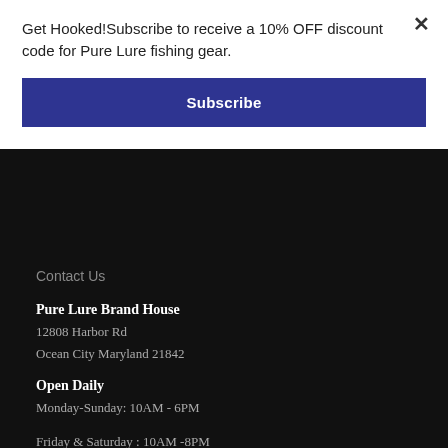Get Hooked! Subscribe to receive a 10% OFF discount code for Pure Lure fishing gear.
Subscribe
Contact Us
Pure Lure Brand House
12808 Harbor Rd
Ocean City Maryland 21842
Open Daily
Monday-Sunday: 10AM - 6PM
Friday & Saturday : 10AM -8PM
Give us a shout
(800) 501-3474